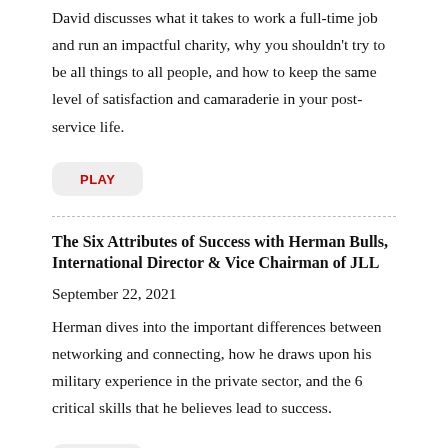David discusses what it takes to work a full-time job and run an impactful charity, why you shouldn't try to be all things to all people, and how to keep the same level of satisfaction and camaraderie in your post-service life.
PLAY
The Six Attributes of Success with Herman Bulls, International Director & Vice Chairman of JLL
September 22, 2021
Herman dives into the important differences between networking and connecting, how he draws upon his military experience in the private sector, and the 6 critical skills that he believes lead to success.
PLAY